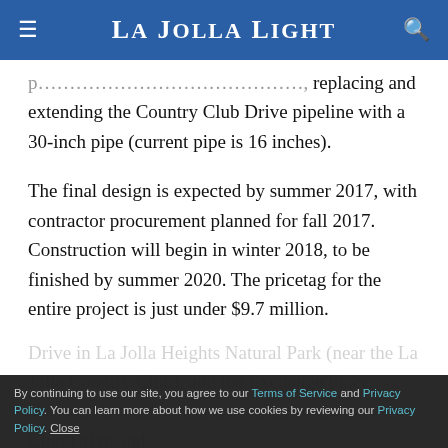La Jolla Light
replacing and extending the Country Club Drive pipeline with a 30-inch pipe (current pipe is 16 inches).
The final design is expected by summer 2017, with contractor procurement planned for fall 2017. Construction will begin in winter 2018, to be finished by summer 2020. The pricetag for the entire project is just under $9.7 million.
The La Jolla View Reservoir is located off Encelia Drive in La Jolla Heights Natural Park (near the La Jolla Country Club), and the Exchange Place reservoir is located near the corner of Country Club Drive and
By continuing to use our site, you agree to our Terms of Service and Privacy Policy. You can learn more about how we use cookies by reviewing our Privacy Policy. Close